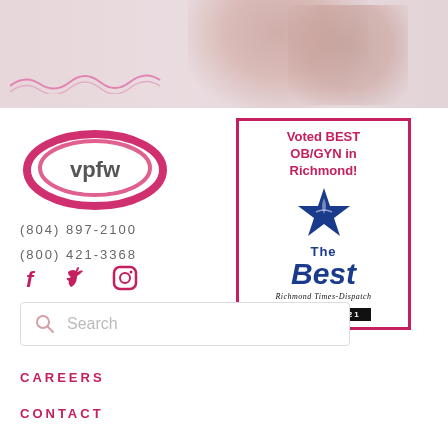[Figure (photo): Hero banner image showing a woman drinking/eating, with pink tones and decorative squiggles]
[Figure (logo): VPFW logo — oval shape in pink/red with 'vpfw' text inside]
(804) 897-2100
(800) 421-3368
[Figure (illustration): Social media icons: Facebook (f), Twitter (bird), Instagram (camera circle) in pink/crimson]
[Figure (other): Award badge: 'Voted BEST OB/GYN in Richmond!' with a blue star and 'The Best Richmond Times-Dispatch WINNER 2021' badge in pink border]
Search
CAREERS
CONTACT